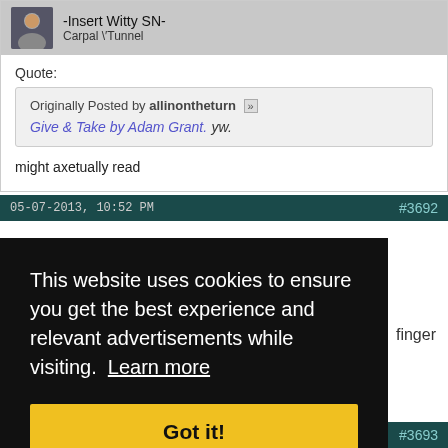-Insert Witty SN-
Carpal \Tunnel
Quote:
Originally Posted by allinontheturn
Give & Take by Adam Grant. yw.
might axetually read
05-07-2013, 10:52 PM #3692
finger
This website uses cookies to ensure you get the best experience and relevant advertisements while visiting. Learn more
Got it!
05-07-2013, 10:53 PM #3693